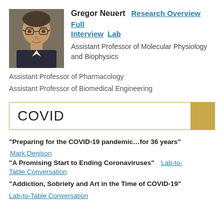[Figure (photo): Headshot photo of Gregor Neuert, a man with glasses and a dark jacket]
Gregor Neuert  Research Overview  Full Interview  Lab
Assistant Professor of Molecular Physiology and Biophysics
Assistant Professor of Pharmacology
Assistant Professor of Biomedical Engineering
COVID
“Preparing for the COVID-19 pandemic…for 36 years”
Mark Denison
“A Promising Start to Ending Coronaviruses”  Lab-to-Table Conversation
“Addiction, Sobriety and Art in the Time of COVID-19”
Lab-to-Table Conversation